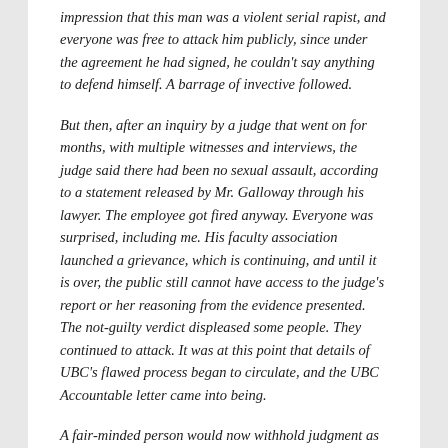impression that this man was a violent serial rapist, and everyone was free to attack him publicly, since under the agreement he had signed, he couldn't say anything to defend himself. A barrage of invective followed.
But then, after an inquiry by a judge that went on for months, with multiple witnesses and interviews, the judge said there had been no sexual assault, according to a statement released by Mr. Galloway through his lawyer. The employee got fired anyway. Everyone was surprised, including me. His faculty association launched a grievance, which is continuing, and until it is over, the public still cannot have access to the judge's report or her reasoning from the evidence presented. The not-guilty verdict displeased some people. They continued to attack. It was at this point that details of UBC's flawed process began to circulate, and the UBC Accountable letter came into being.
A fair-minded person would now withhold judgment as to guilt until the report and the evidence are available for us to see. We are grownups: We can make up our own minds, one way or the other. The signatories of the UBC Accountable letter have